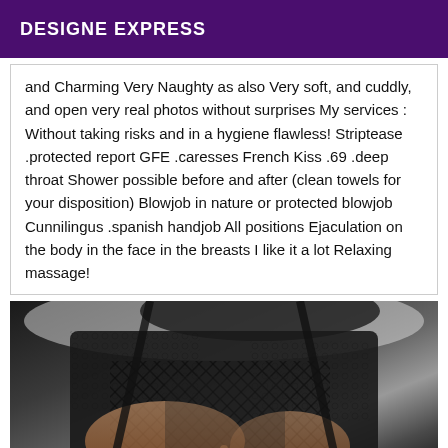DESIGNE EXPRESS
and Charming Very Naughty as also Very soft, and cuddly, and open very real photos without surprises My services : Without taking risks and in a hygiene flawless! Striptease .protected report GFE .caresses French Kiss .69 .deep throat Shower possible before and after (clean towels for your disposition) Blowjob in nature or protected blowjob Cunnilingus .spanish handjob All positions Ejaculation on the body in the face in the breasts I like it a lot Relaxing massage!
[Figure (photo): Photo of a person wearing black lace/mesh lingerie, close-up torso shot on white bedding]